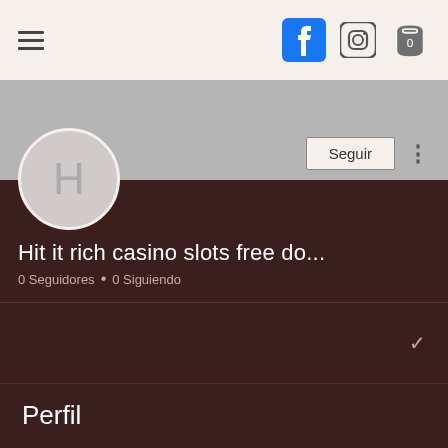[Figure (screenshot): Top navigation bar with hamburger menu, Facebook icon, Instagram icon, and shopping cart icon showing 0]
[Figure (photo): User profile avatar circle with letter H on dark brown background with gray banner]
Hit it rich casino slots free do...
0 Seguidores • 0 Siguiendo
Perfil
Fecha de registro: 18 may 2022